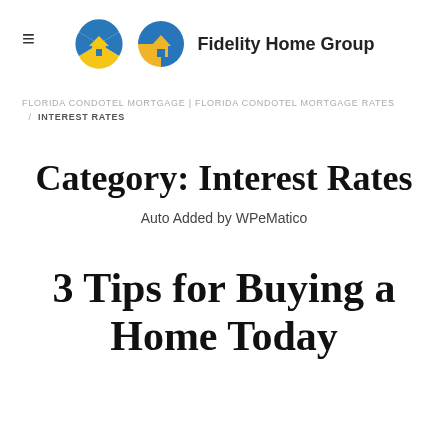≡  Fidelity Home Group
FLORIDA CONDOTEL MORTGAGE | FLORIDA CONDOTEL MORTGAGE RATES / INTEREST RATES
Category: Interest Rates
Auto Added by WPeMatico
3 Tips for Buying a Home Today